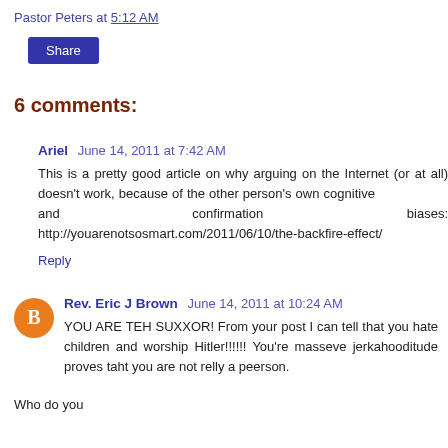Pastor Peters at 5:12 AM
Share
6 comments:
Ariel  June 14, 2011 at 7:42 AM
This is a pretty good article on why arguing on the Internet (or at all) doesn't work, because of the other person's own cognitive and confirmation biases: http://youarenotsosmart.com/2011/06/10/the-backfire-effect/
Reply
Rev. Eric J Brown  June 14, 2011 at 10:24 AM
YOU ARE TEH SUXXOR! From your post I can tell that you hate children and worship Hitler!!!!!! You're masseve jerkahooditude proves taht you are not relly a peerson.
Who do you...